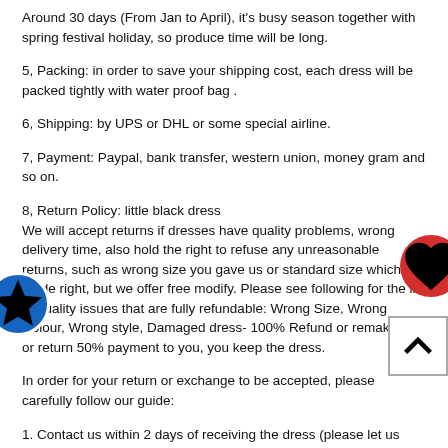Around 30 days (From Jan to April), it's busy season together with spring festival holiday, so produce time will be long.
5, Packing: in order to save your shipping cost, each dress will be packed tightly with water proof bag .
6, Shipping: by UPS or DHL or some special airline.
7, Payment: Paypal, bank transfer, western union, money gram and so on.
8, Return Policy: little black dress We will accept returns if dresses have quality problems, wrong delivery time, also hold the right to refuse any unreasonable returns, such as wrong size you gave us or standard size which we made right, but we offer free modify. Please see following for the list of quality issues that are fully refundable: Wrong Size, Wrong Colour, Wrong style, Damaged dress- 100% Refund or remake one or return 50% payment to you, you keep the dress.
In order for your return or exchange to be accepted, please carefully follow our guide:
1. Contact us within 2 days of receiving the dress (please let us know if you have some exceptional case in advance)
2. Provide us with photos of the dress, to show evidence of damage or bad